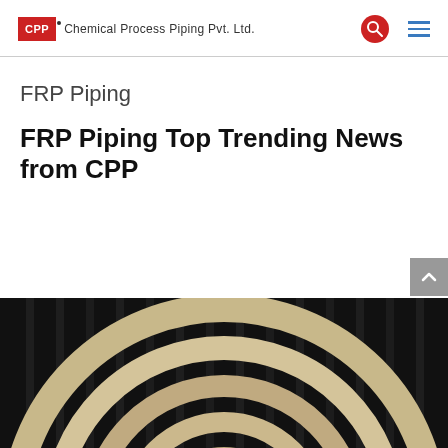Chemical Process Piping Pvt. Ltd.
FRP Piping
FRP Piping Top Trending News from CPP
[Figure (photo): Close-up photo of FRP pipe flanges or rings stacked concentrically on a dark background, showing layered composite material with cream/white color rings.]